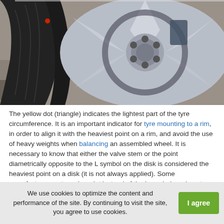[Figure (photo): Close-up photograph of a car tyre and silver alloy wheel rim, showing the tyre tread and brake disc behind the spokes, set against a gravel background.]
The yellow dot (triangle) indicates the lightest part of the tyre circumference. It is an important indicator for tyre mounting to a rim, in order to align it with the heaviest point on a rim, and avoid the use of heavy weights when balancing an assembled wheel. It is necessary to know that either the valve stem or the point diametrically opposite to the L symbol on the disk is considered the heaviest point on a disk (it is not always applied). Some manufacturers put a colour dot instead of the L symbol, or do not mark the lightest place on the disc
We use cookies to optimize the content and performance of the site. By continuing to visit the site, you agree to use cookies.